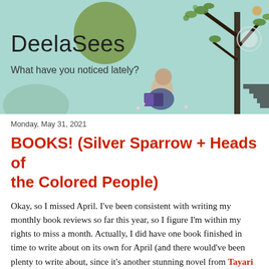[Figure (illustration): Blog header banner with teal/mint green background, decorative illustration of a person reading with trees, leaves, and circular shapes]
DeelaSees
What have you noticed lately?
Monday, May 31, 2021
BOOKS! (Silver Sparrow + Heads of the Colored People)
Okay, so I missed April. I've been consistent with writing my monthly book reviews so far this year, so I figure I'm within my rights to miss a month. Actually, I did have one book finished in time to write about on its own for April (and there would've been plenty to write about, since it's another stunning novel from Tayari Jones). But then I thought I had enough time before April's end to squeeze in finishing a much shorter book, and do a two-fer review like I usually do... and I was hilariously mistaken. Now it's the end of May. But hey, I'm still reading, I'm still writing, I'm back on this blog